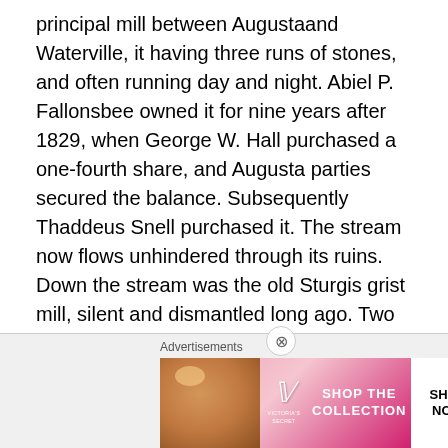principal mill between Augustaand Waterville, it having three runs of stones, and often running day and night. Abiel P. Fallonsbee owned it for nine years after 1829, when George W. Hall purchased a one-fourth share, and Augusta parties secured the balance. Subsequently Thaddeus Snell purchased it. The stream now flows unhindered through its ruins. Down the stream was the old Sturgis grist mill, silent and dismantled long ago. Two paper mills have been operated on this stream. George Cox and Mr. Talpy built one near the mouth. It was burned in 1841, and on the site Bridge & Sturgis erected the present three-story machine shop, where sash, blinds and doors were made for a time, until they were succeeded by
[Figure (other): Advertisements banner: Victoria's Secret advertisement showing a woman, the VS logo, text 'SHOP THE COLLECTION', and a 'SHOP NOW' button.]